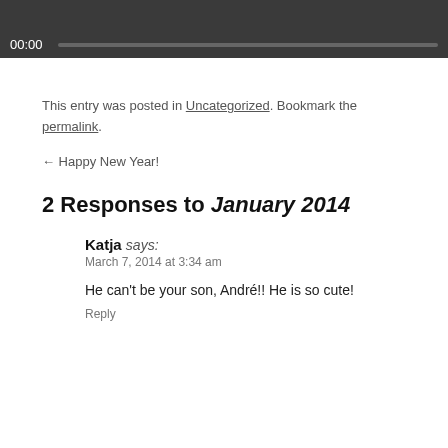[Figure (screenshot): Media player bar with timecode 00:00 and progress track on dark background]
This entry was posted in Uncategorized. Bookmark the permalink.
← Happy New Year!
2 Responses to January 2014
Katja says:
March 7, 2014 at 3:34 am
He can't be your son, André!! He is so cute!
Reply